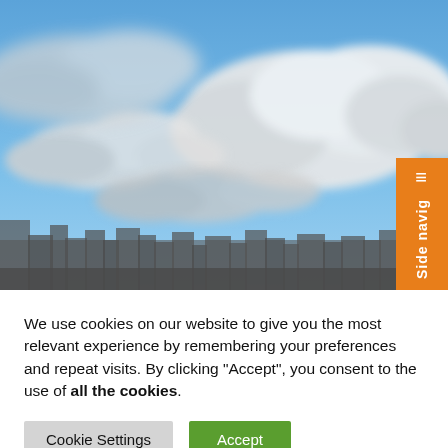[Figure (photo): Outdoor sky photo with blue sky, white clouds, and city buildings silhouetted at the bottom. An orange side navigation tab is visible on the right edge with a hamburger-style icon and the text 'Side navig'.]
We use cookies on our website to give you the most relevant experience by remembering your preferences and repeat visits. By clicking “Accept”, you consent to the use of all the cookies.
Cookie Settings | Accept